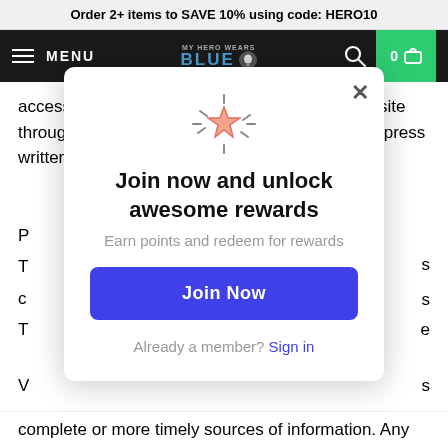Order 2+ items to SAVE 10% using code: HERO10
MENU | MY HERO WEARS BLUE | 0
access to the Service or any contact on the website through which the service is provided, without express written
[Figure (infographic): Rewards popup modal with star icon, title 'Join now and unlock awesome rewards', subtitle 'Earn points and redeem for rewards', blue 'Join Now' button, and 'Already a member? Sign in' link]
complete or more timely sources of information. Any